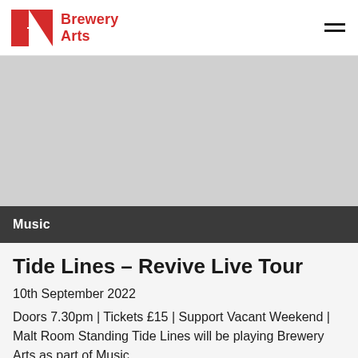Brewery Arts
[Figure (photo): Grey placeholder image for event banner]
Music
Tide Lines – Revive Live Tour
10th September 2022
Doors 7.30pm | Tickets £15 | Support Vacant Weekend | Malt Room Standing Tide Lines will be playing Brewery Arts as part of Music